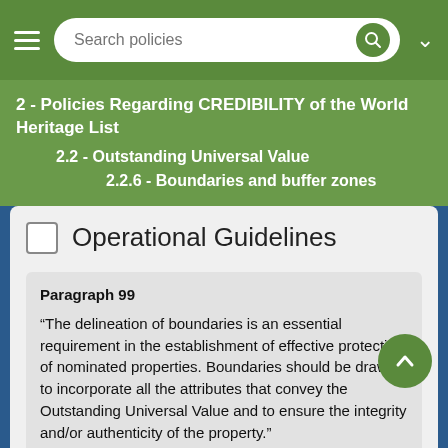Search policies
2 - Policies Regarding CREDIBILITY of the World Heritage List
2.2 - Outstanding Universal Value
2.2.6 - Boundaries and buffer zones
Operational Guidelines
Paragraph 99
“The delineation of boundaries is an essential requirement in the establishment of effective protection of nominated properties. Boundaries should be drawn to incorporate all the attributes that convey the Outstanding Universal Value and to ensure the integrity and/or authenticity of the property.”
Theme: 2.2.6.1 - Boundaries